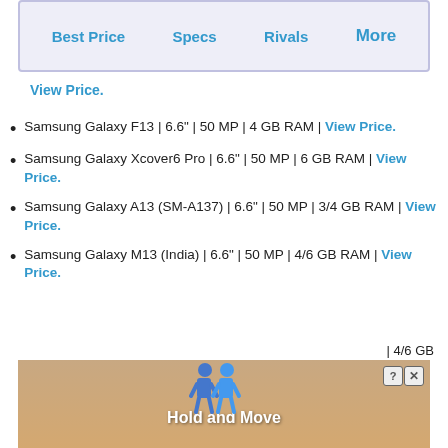Best Price | Specs | Rivals | More
View Price.
Samsung Galaxy F13 | 6.6" | 50 MP | 4 GB RAM | View Price.
Samsung Galaxy Xcover6 Pro | 6.6" | 50 MP | 6 GB RAM | View Price.
Samsung Galaxy A13 (SM-A137) | 6.6" | 50 MP | 3/4 GB RAM | View Price.
Samsung Galaxy M13 (India) | 6.6" | 50 MP | 4/6 GB RAM | View Price.
[Figure (screenshot): Advertisement banner with 'Hold and Move' text and animated character figures, with a close button in corner.]
| 4/6 GB